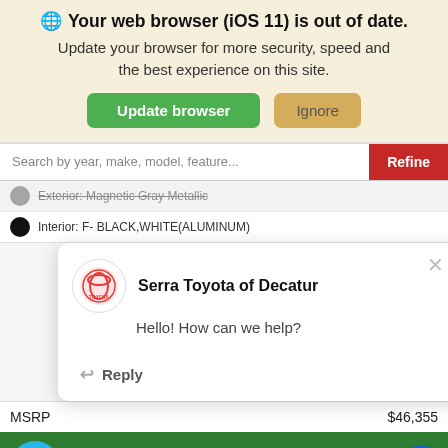[Figure (screenshot): Browser update notification banner with globe icon, bold title 'Your web browser (iOS 11) is out of date.', subtitle 'Update your browser for more security, speed and the best experience on this site.', and two buttons: green 'Update browser' and tan 'Ignore']
Search by year, make, model, feature...
Exterior: Magnetic Gray Metallic
Interior: F- BLACK,WHITE(ALUMINUM)
[Figure (screenshot): Chat popup from Serra Toyota of Decatur with Toyota logo, message 'Hello! How can we help?' and a Reply button]
MSRP	$46,355
[Figure (screenshot): Bottom bar with chat bubble button, 'Call' text, 'Value Your Trade' red button, and accessibility icon on green and red background with 'EXPLORE PAYMENTS' bar]